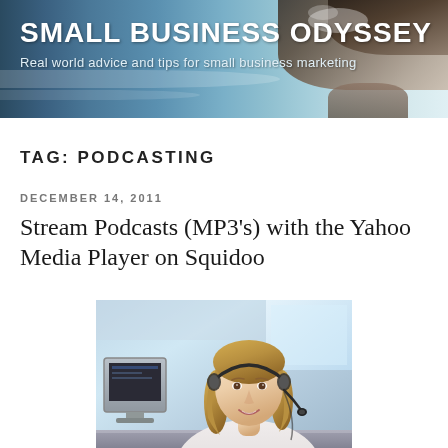SMALL BUSINESS ODYSSEY
Real world advice and tips for small business marketing
TAG: PODCASTING
DECEMBER 14, 2011
Stream Podcasts (MP3’s) with the Yahoo Media Player on Squidoo
[Figure (photo): Woman wearing a headset smiling at a computer desk]